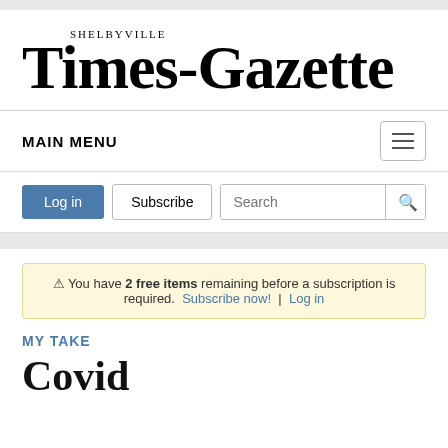SHELBYVILLE TIMES-GAZETTE
MAIN MENU
Log in  Subscribe  Search
⚠ You have 2 free items remaining before a subscription is required. Subscribe now! | Log in
MY TAKE
Covid